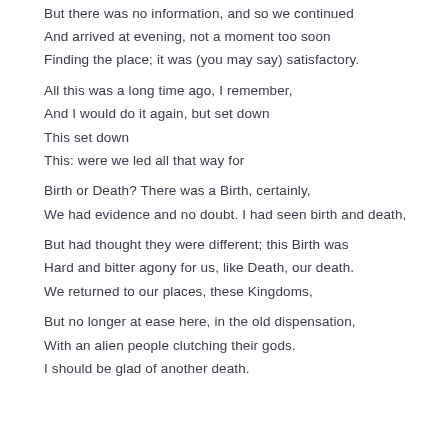But there was no information, and so we continued
And arrived at evening, not a moment too soon
Finding the place; it was (you may say) satisfactory.

All this was a long time ago, I remember,
And I would do it again, but set down
This set down
This: were we led all that way for
Birth or Death? There was a Birth, certainly,
We had evidence and no doubt. I had seen birth and death,
But had thought they were different; this Birth was
Hard and bitter agony for us, like Death, our death.
We returned to our places, these Kingdoms,
But no longer at ease here, in the old dispensation,
With an alien people clutching their gods.
I should be glad of another death.